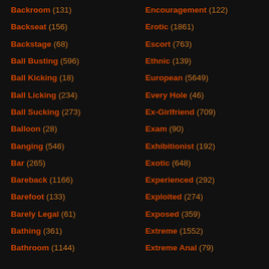Backroom (131)
Backseat (156)
Backstage (68)
Ball Busting (596)
Ball Kicking (18)
Ball Licking (234)
Ball Sucking (273)
Balloon (28)
Banging (546)
Bar (265)
Bareback (1166)
Barefoot (133)
Barely Legal (61)
Bathing (361)
Bathroom (1144)
Encouragement (122)
Erotic (1861)
Escort (763)
Ethnic (139)
European (5649)
Every Hole (46)
Ex-Girlfriend (709)
Exam (90)
Exhibitionist (192)
Exotic (648)
Experienced (292)
Exploited (274)
Exposed (359)
Extreme (1552)
Extreme Anal (79)